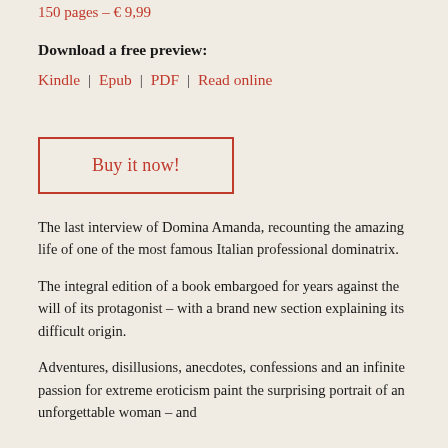150 pages – € 9,99
Download a free preview:
Kindle | Epub | PDF | Read online
Buy it now!
The last interview of Domina Amanda, recounting the amazing life of one of the most famous Italian professional dominatrix.
The integral edition of a book embargoed for years against the will of its protagonist – with a brand new section explaining its difficult origin.
Adventures, disillusions, anecdotes, confessions and an infinite passion for extreme eroticism paint the surprising portrait of an unforgettable woman – and